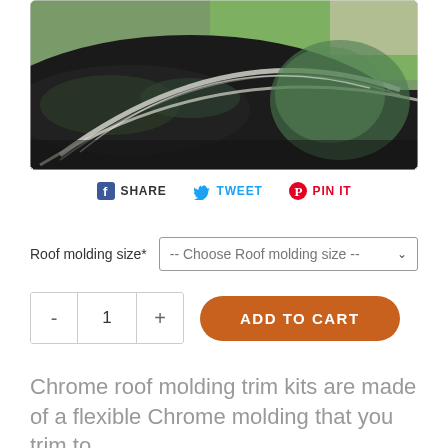[Figure (photo): Close-up photograph of a black car roof with chrome trim molding, reflecting trees. Green grass and a building visible in background.]
SHARE  TWEET  PIN IT
Roof molding size*  -- Choose Roof molding size --
- 1 +  ADD TO CART
Chrome roof molding trim kits are made of a flexible Chrome molding that you trim to